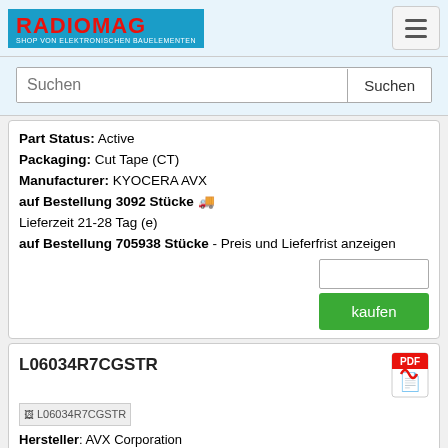RADIOMAG - SHOP VON ELEKTRONISCHEN BAUELEMENTEN
Part Status: Active
Packaging: Cut Tape (CT)
Manufacturer: KYOCERA AVX
auf Bestellung 3092 Stücke
Lieferzeit 21-28 Tag (e)
auf Bestellung 705938 Stücke - Preis und Lieferfrist anzeigen
L06034R7CGSTR
[Figure (other): PDF icon]
L06034R7CGSTR (product image placeholder)
Hersteller: AVX Corporation
Description: FIXED IND 4.7NH 500MA 150 MOHM
Height - Seated (Max): 0.028" (0.71mm)
Size / Dimension: 0.063" L x 0.032" W (1.60mm x 0.81mm)
Package / Case: 0603 (1608 Metric)
Mounting Type: Surface Mount
Inductance Frequency - Test: 450MHz
Operating Temperature: -55°C ~ 125°C